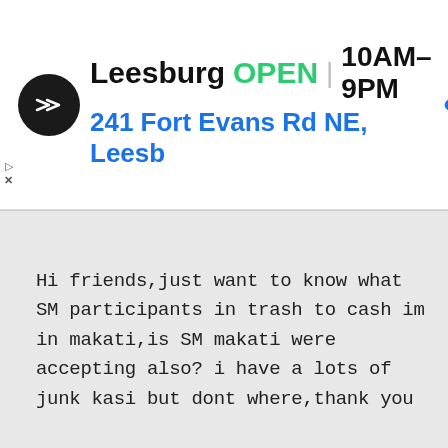[Figure (screenshot): Ad banner showing a business logo (black circle with double arrow icon), store name Leesburg, OPEN status in green, hours 10AM-9PM, address 241 Fort Evans Rd NE, Leesb, and a blue navigation diamond icon]
Hi friends,just want to know what SM participants in trash to cash im in makati,is SM makati were accepting also? i have a lots of junk kasi but dont where,thank you